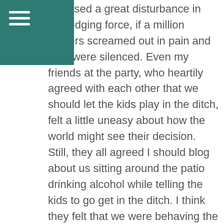[Figure (other): Teal/dark green rectangular header bar with hamburger menu icon (three white horizontal lines)]
s caused a great disturbance in the judging force, if a million judgers screamed out in pain and then were silenced. Even my friends at the party, who heartily agreed with each other that we should let the kids play in the ditch, felt a little uneasy about how the world might see their decision. Still, they all agreed I should blog about us sitting around the patio drinking alcohol while telling the kids to go get in the ditch. I think they felt that we were behaving the opposite of how parents are supposed to behave.
See, The Cult of Perfect Motherhood tells us we must remain ever vigilant and constantly protect our children from any potential danger. A ditch is rife with perceived dangers: a flash flood could suddenly wash our children away. There might be dangerous items in the ditch. The ditch is filthy; who